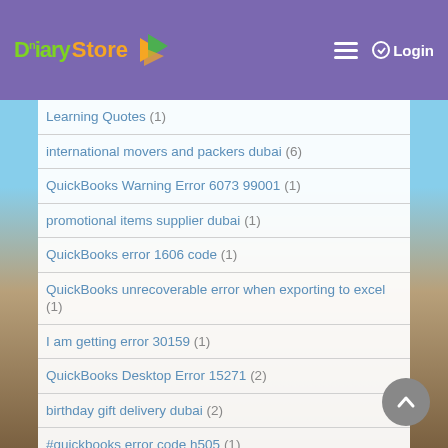Diary Store — Login
Learning Quotes (1)
international movers and packers dubai (6)
QuickBooks Warning Error 6073 99001 (1)
promotional items supplier dubai (1)
QuickBooks error 1606 code (1)
QuickBooks unrecoverable error when exporting to excel (1)
I am getting error 30159 (1)
QuickBooks Desktop Error 15271 (2)
birthday gift delivery dubai (2)
#quickbooks error code h505 (1)
Mark Twain (1)
ickBooks payroll error 557 (2)